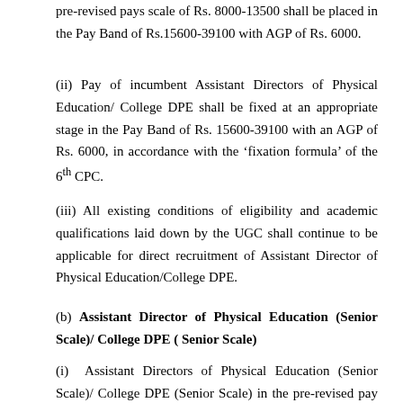pre-revised pays scale of Rs. 8000-13500 shall be placed in the Pay Band of Rs.15600-39100 with AGP of Rs. 6000.
(ii) Pay of incumbent Assistant Directors of Physical Education/ College DPE shall be fixed at an appropriate stage in the Pay Band of Rs. 15600-39100 with an AGP of Rs. 6000, in accordance with the ‘fixation formula’ of the 6th CPC.
(iii) All existing conditions of eligibility and academic qualifications laid down by the UGC shall continue to be applicable for direct recruitment of Assistant Director of Physical Education/College DPE.
(b) Assistant Director of Physical Education (Senior Scale)/ College DPE ( Senior Scale)
(i) Assistant Directors of Physical Education (Senior Scale)/ College DPE (Senior Scale) in the pre-revised pay scale of Rs. 10000-15200 shall be placed in the Pay Band of Rs. 15600-39100 with AGP of Rs.